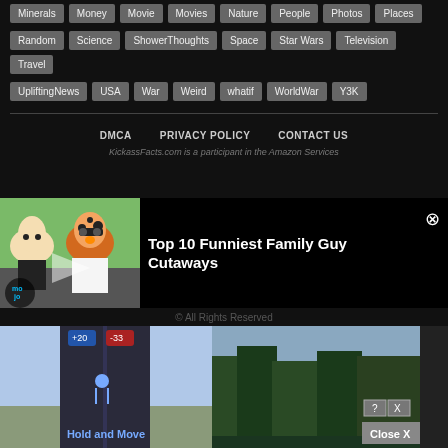Minerals Money Movie Movies Nature People Photos Places
Random Science ShowerThoughts Space Star Wars Television Travel
UpliftingNews USA War Weird whatif WorldWar Y3K
DMCA   PRIVACY POLICY   CONTACT US
KickassFacts.com is a participant in the Amazon Services
[Figure (screenshot): Video popup showing Family Guy Stewie and Chester Cheetah with title 'Top 10 Funniest Family Guy Cutaways' and close button]
© All Rights Reserved
[Figure (screenshot): Bottom advertisement showing 'Hold and Move' mobile game ad with close X button and ? X icons]